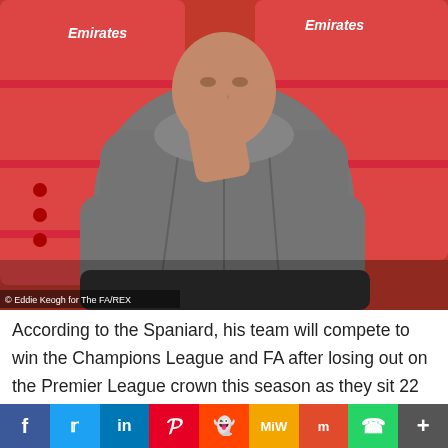[Figure (photo): Man sitting in red Emirates-branded stadium seats, wearing a grey hooded jacket, resting his hand against his face in a contemplative pose. Photo credit: Eddie Keogh for The FA/REX]
© Eddie Keogh for The FA/REX
According to the Spaniard, his team will compete to win the Champions League and FA after losing out on the Premier League crown this season as they sit 22 points behind